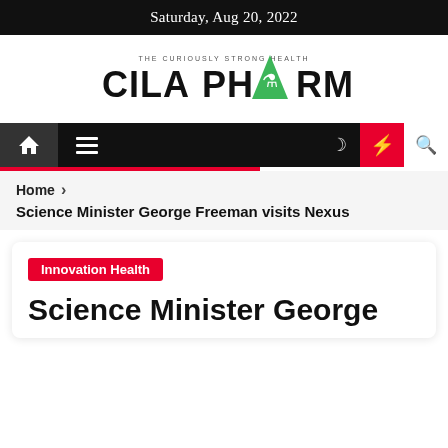Saturday, Aug 20, 2022
[Figure (logo): Cila Pharm logo — 'THE CURIOUSLY STRONG HEALTH' tagline above, green stylized pharmacy symbol in the center of bold black text 'CILA PHARM']
[Figure (screenshot): Navigation bar with home icon, hamburger menu, moon icon, red lightning bolt button, and search icon]
Home  >  Science Minister George Freeman visits Nexus
Innovation Health
Science Minister George